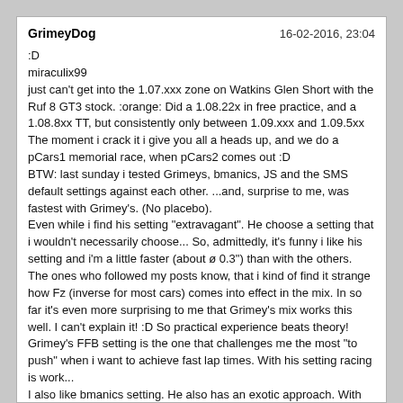GrimeyDog | 16-02-2016, 23:04
:D
miraculix99
just can't get into the 1.07.xxx zone on Watkins Glen Short with the Ruf 8 GT3 stock. :orange: Did a 1.08.22x in free practice, and a 1.08.8xx TT, but consistently only between 1.09.xxx and 1.09.5xx
The moment i crack it i give you all a heads up, and we do a pCars1 memorial race, when pCars2 comes out :D
BTW: last sunday i tested Grimeys, bmanics, JS and the SMS default settings against each other. ...and, surprise to me, was fastest with Grimey's. (No placebo).
Even while i find his setting "extravagant". He choose a setting that i wouldn't necessarily choose... So, admittedly, it's funny i like his setting and i'm a little faster (about ø 0.3") than with the others. The ones who followed my posts know, that i kind of find it strange how Fz (inverse for most cars) comes into effect in the mix. In so far it's even more surprising to me that Grimey's mix works this well. I can't explain it! :D So practical experience beats theory! Grimey's FFB setting is the one that challenges me the most "to push" when i want to achieve fast lap times. With his setting racing is work...
I also like bmanics setting. He also has an exotic approach. With exotic i mean a much different fundamental approach by setting the tirforces really low, and giving the wheel weight and definition with a smart combination of RAG/RAB/RAC and SC. I found it immersive, but somehow it isn't ideal for me for fast laps.
While Grimey and bmanic settings stand for two extremes (Grimey with his approach of high tireforces, using the "invisible headroom" intensively (up to 5.0), and a lot of RAC soft-limiting, and practically no Fx and little Fy, and bmanic with his tiny tire forces lots of compression with SC and a relatively high steering gain), JS and SMS' default both have in common to keep the tire